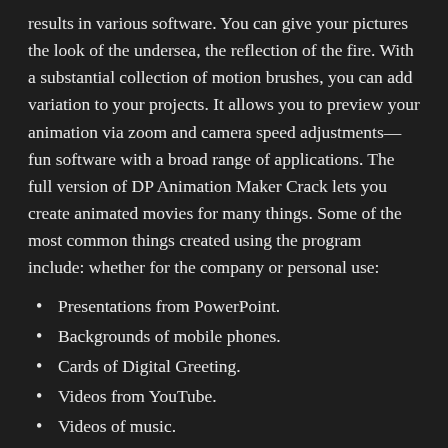results in various software. You can give your pictures the look of the undersea, the reflection of the fire. With a substantial collection of motion brushes, you can add variation to your projects. It allows you to preview your animation via zoom and camera speed adjustments—fun software with a broad range of applications. The full version of DP Animation Maker Crack lets you create animated movies for many things. Some of the most common things created using the program include: whether for the company or personal use:
Presentations from PowerPoint.
Backgrounds of mobile phones.
Cards of Digital Greeting.
Videos from YouTube.
Videos of music.
Funny videos.